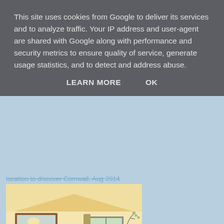This site uses cookies from Google to deliver its services and to analyze traffic. Your IP address and user-agent are shared with Google along with performance and security metrics to ensure quality of service, generate usage statistics, and to detect and address abuse.
LEARN MORE    OK
location to discover Cornwall. Aug 2014
[Figure (photo): Interior photo of a bedroom with cream/yellow walls, wooden furniture including a dresser with a mirror, a TV, a double bed with white linens and teal/blue accent pillows, and a window in the background.]
Penjerrick, Coombe, sleeps 4
Coombe is the quintessential getaway from it all Cornish retreat, yet only 10 minutes from the city centre of Truro. Located on a stunning estate south of the River F...